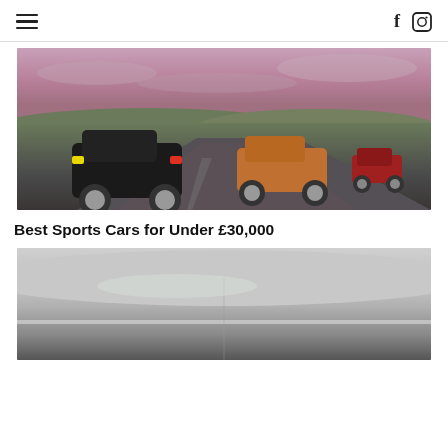≡   f ⊙
[Figure (photo): Three Caterham-style open-wheel sports cars driving on a winding rural road with a pink/purple cloudy sky backdrop and moorland landscape. Black car in foreground, orange car in middle, red car far back.]
Best Sports Cars for Under £30,000
[Figure (photo): Close-up partial view of a silver/grey sports car roof and bodywork, partially cropped at bottom of page.]